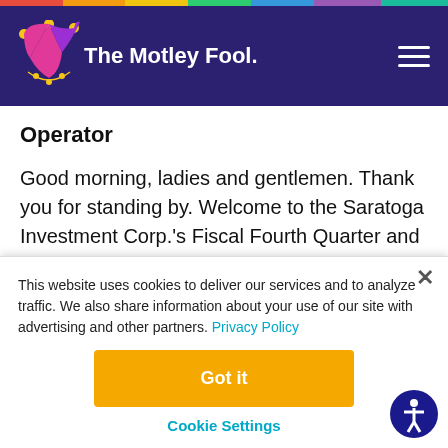[Figure (logo): The Motley Fool logo with jester hat in pink/purple/yellow on dark navy header background]
Operator
Good morning, ladies and gentlemen. Thank you for standing by. Welcome to the Saratoga Investment Corp.'s Fiscal Fourth Quarter and Fiscal Year 2020 Financial Results Conference
This website uses cookies to deliver our services and to analyze traffic. We also share information about your use of our site with advertising and other partners. Privacy Policy
Got it
Cookie Settings